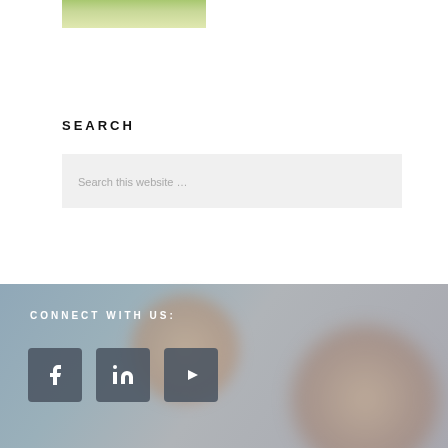[Figure (photo): Small landscape photo showing green grass and a person, appears to be an outdoor scene]
SEARCH
Search this website …
CONNECT WITH US:
[Figure (photo): Blurred background image of people, used as footer background]
[Figure (logo): Facebook social media icon (f)]
[Figure (logo): LinkedIn social media icon (in)]
[Figure (logo): YouTube social media icon (play button)]